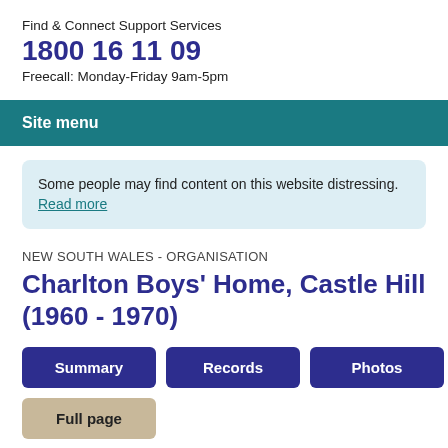Find & Connect Support Services
1800 16 11 09
Freecall: Monday-Friday 9am-5pm
Site menu
Some people may find content on this website distressing. Read more
NEW SOUTH WALES - ORGANISATION
Charlton Boys' Home, Castle Hill (1960 - 1970)
Summary
Records
Photos
Full page